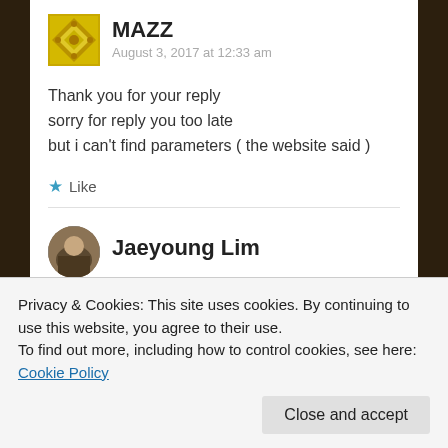MAZZ
August 3, 2017 at 12:33 am
Thank you for your reply
sorry for reply you too late
but i can't find parameters ( the website said )
★ Like
Jaeyoung Lim
Privacy & Cookies: This site uses cookies. By continuing to use this website, you agree to their use.
To find out more, including how to control cookies, see here: Cookie Policy